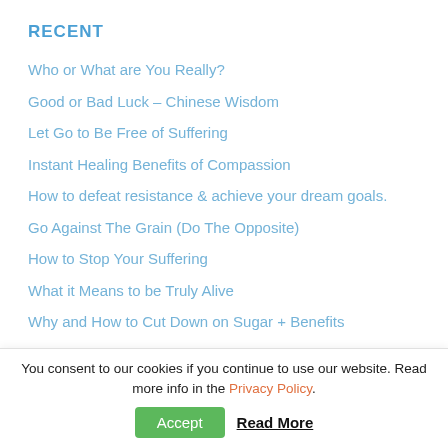RECENT
Who or What are You Really?
Good or Bad Luck – Chinese Wisdom
Let Go to Be Free of Suffering
Instant Healing Benefits of Compassion
How to defeat resistance & achieve your dream goals.
Go Against The Grain (Do The Opposite)
How to Stop Your Suffering
What it Means to be Truly Alive
Why and How to Cut Down on Sugar + Benefits
How To Stay Calm No Matter What
You consent to our cookies if you continue to use our website. Read more info in the Privacy Policy.
Accept   Read More